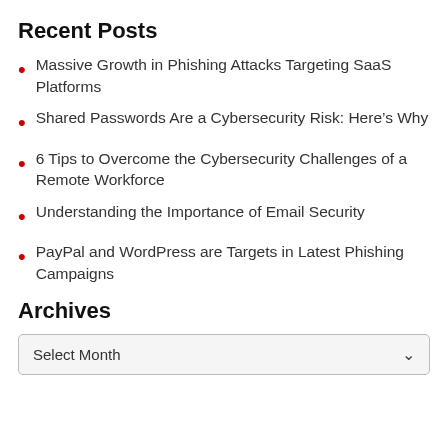Recent Posts
Massive Growth in Phishing Attacks Targeting SaaS Platforms
Shared Passwords Are a Cybersecurity Risk: Here’s Why
6 Tips to Overcome the Cybersecurity Challenges of a Remote Workforce
Understanding the Importance of Email Security
PayPal and WordPress are Targets in Latest Phishing Campaigns
Archives
Select Month